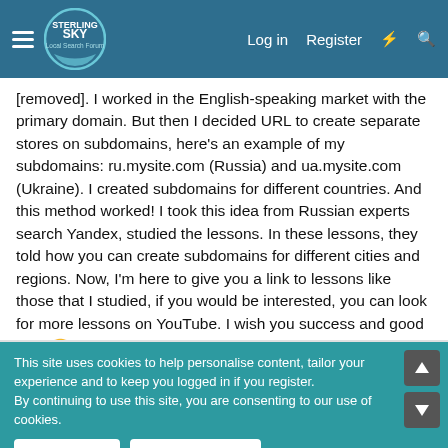Sterling Sky Local Search Forum — Log in | Register
[removed]. I worked in the English-speaking market with the primary domain. But then I decided URL to create separate stores on subdomains, here's an example of my subdomains: ru.mysite.com (Russia) and ua.mysite.com (Ukraine). I created subdomains for different countries. And this method worked! I took this idea from Russian experts search Yandex, studied the lessons. In these lessons, they told how you can create subdomains for different cities and regions. Now, I'm here to give you a link to lessons like those that I studied, if you would be interested, you can look for more lessons on YouTube. I wish you success and good luck 🙂
Last edited by a moderator: Mar 8, 2017
This site uses cookies to help personalise content, tailor your experience and to keep you logged in if you register. By continuing to use this site, you are consenting to our use of cookies.